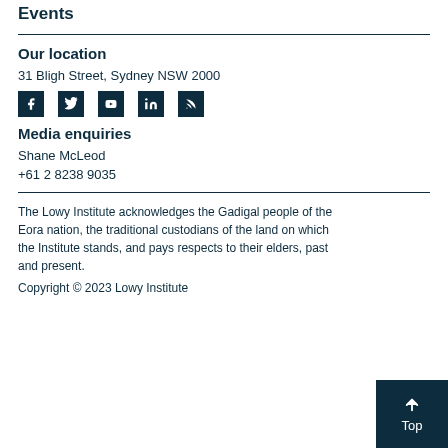Events
Our location
31 Bligh Street, Sydney NSW 2000
[Figure (other): Social media icons: Facebook, Twitter, YouTube, LinkedIn, RSS]
Media enquiries
Shane McLeod
+61 2 8238 9035
The Lowy Institute acknowledges the Gadigal people of the Eora nation, the traditional custodians of the land on which the Institute stands, and pays respects to their elders, past and present.
Copyright © 2023 Lowy Institute